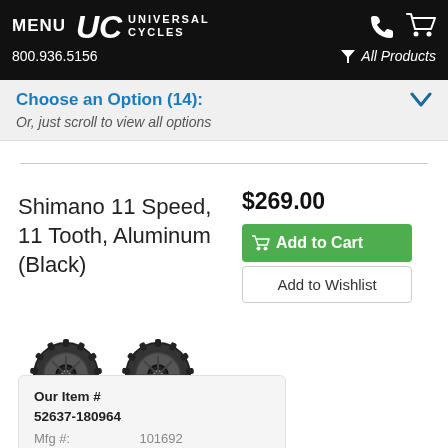MENU UC UNIVERSAL CYCLES 800.936.5156 All Products
Choose an Option (14): Or, just scroll to view all options
Shimano 11 Speed, 11 Tooth, Aluminum (Black)
$269.00
Add to Cart
Add to Wishlist
[Figure (photo): Two black aluminum pulley wheels/jockey wheels for Shimano 11-speed derailleur]
| Our Item # | 52637-180964 |
| Mfg #: | 101692 |
| EAN: |  |